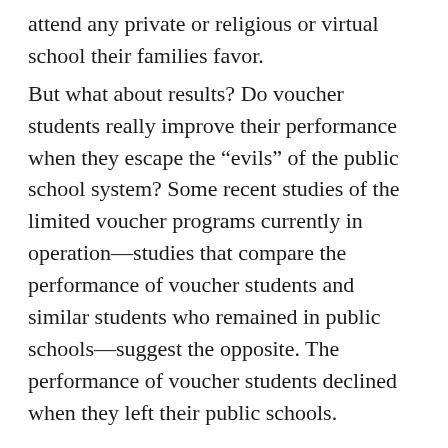attend any private or religious or virtual school their families favor.
But what about results? Do voucher students really improve their performance when they escape the “evils” of the public school system? Some recent studies of the limited voucher programs currently in operation—studies that compare the performance of voucher students and similar students who remained in public schools—suggest the opposite. The performance of voucher students declined when they left their public schools.
Highly regarded education researcher Mark Dynarski, of the Brookings Institution, summarizes the most recent studies:
– Indiana, 2015: “In mathematics,” the researchers found, “voucher students who transfer to private schools experienced significant losses in achievement.” They also found no improvement in reading.